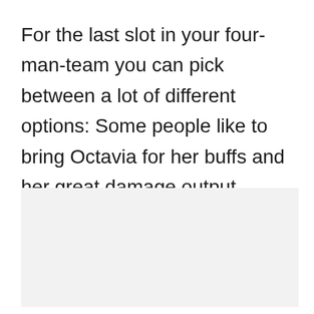For the last slot in your four-man-team you can pick between a lot of different options: Some people like to bring Octavia for her buffs and her great damage output.
[Figure (other): Gray placeholder image region occupying the lower half of the page]